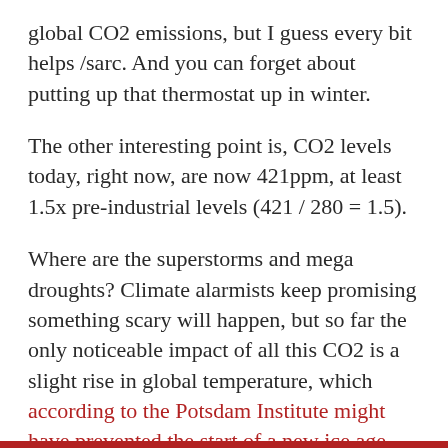global CO2 emissions, but I guess every bit helps /sarc. And you can forget about putting up that thermostat up in winter.
The other interesting point is, CO2 levels today, right now, are now 421ppm, at least 1.5x pre-industrial levels (421 / 280 = 1.5).
Where are the superstorms and mega droughts? Climate alarmists keep promising something scary will happen, but so far the only noticeable impact of all this CO2 is a slight rise in global temperature, which according to the Potsdam Institute might have prevented the start of a new ice age. The CO2 is also causing a measurable greening of the